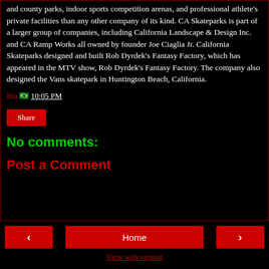and county parks, indoor sports competition arenas, and professional athlete's private facilities than any other company of its kind. CA Skateparks is part of a larger group of companies, including California Landscape & Design Inc. and CA Ramp Works all owned by founder Joe Ciaglia Jr. California Skateparks designed and built Rob Dyrdek's Fantasy Factory, which has appeared in the MTV show, Rob Dyrdek's Fantasy Factory. The company also designed the Vans skatepark in Huntington Beach, California.
Bia 🇧🇷 10:05 PM
[Figure (screenshot): Share button (red)]
No comments:
Post a Comment
< Home > View web version